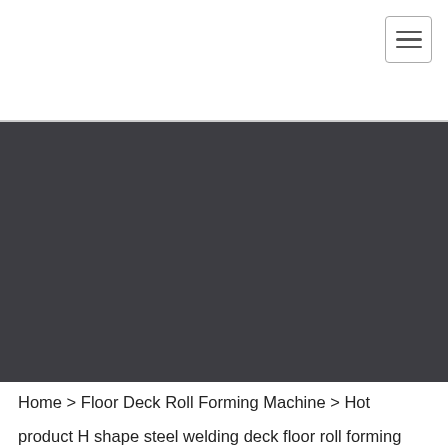[Navigation header with hamburger menu button]
[Figure (photo): Large dark gray banner image area, placeholder for a product or hero image]
Home > Floor Deck Roll Forming Machine > Hot product H shape steel welding deck floor roll forming